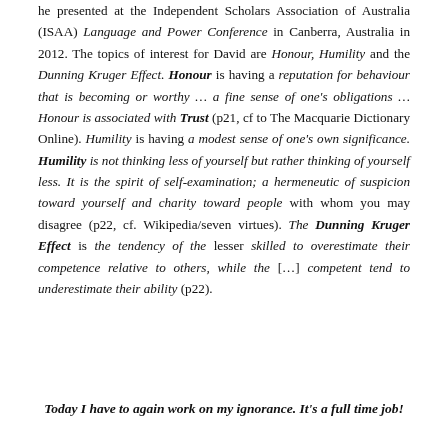he presented at the Independent Scholars Association of Australia (ISAA) Language and Power Conference in Canberra, Australia in 2012. The topics of interest for David are Honour, Humility and the Dunning Kruger Effect. Honour is having a reputation for behaviour that is becoming or worthy … a fine sense of one's obligations … Honour is associated with Trust (p21, cf to The Macquarie Dictionary Online). Humility is having a modest sense of one's own significance. Humility is not thinking less of yourself but rather thinking of yourself less. It is the spirit of self-examination; a hermeneutic of suspicion toward yourself and charity toward people with whom you may disagree (p22, cf. Wikipedia/seven virtues). The Dunning Kruger Effect is the tendency of the lesser skilled to overestimate their competence relative to others, while the [...] competent tend to underestimate their ability (p22).
Today I have to again work on my ignorance. It's a full time job!